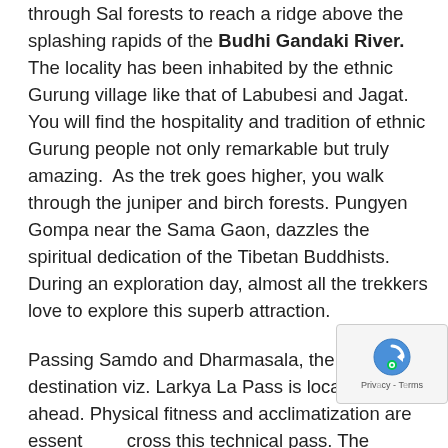through Sal forests to reach a ridge above the splashing rapids of the Budhi Gandaki River. The locality has been inhabited by the ethnic Gurung village like that of Labubesi and Jagat. You will find the hospitality and tradition of ethnic Gurung people not only remarkable but truly amazing. As the trek goes higher, you walk through the juniper and birch forests. Pungyen Gompa near the Sama Gaon, dazzles the spiritual dedication of the Tibetan Buddhists. During an exploration day, almost all the trekkers love to explore this superb attraction.
Passing Samdo and Dharmasala, the ultimate destination viz. Larkya La Pass is located a step ahead. Physical fitness and acclimatization are essential to cross this technical pass. The exquisite views of Manaslu (8163m), the eighth highest mountain of